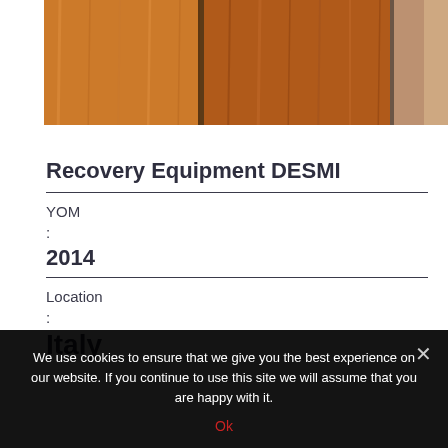[Figure (photo): Photo of wooden paneling or equipment surface showing wood grain texture in orange-brown tones]
Recovery Equipment DESMI
YOM
:
2014
Location
:
Italy
We use cookies to ensure that we give you the best experience on our website. If you continue to use this site we will assume that you are happy with it.
Ok